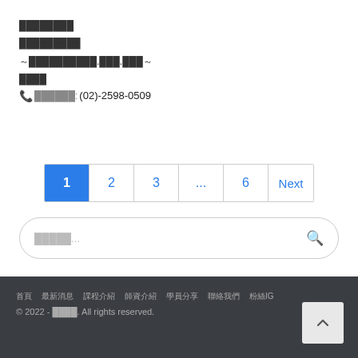████████
█████████
～██████████.███.███～
████
📞██████:(02)-2598-0509
[Figure (other): Pagination control showing pages 1 (active/blue), 2, 3, ..., 6, Next]
[Figure (other): Search input box with placeholder text and magnifying glass icon]
首頁 最新消息 課程介紹 師資介紹 學員分享 聯絡我們 粉絲IG © 2022 - 瘦身工坊. All rights reserved.